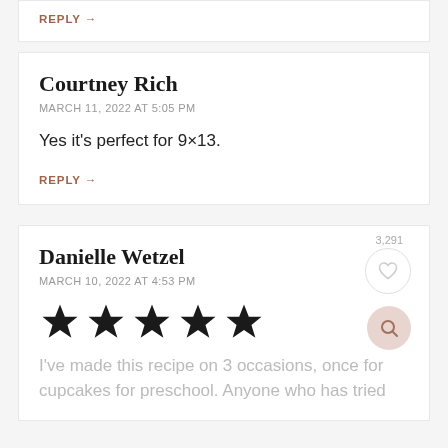REPLY →
Courtney Rich
MARCH 11, 2022 AT 5:05 PM
Yes it's perfect for 9×13.
REPLY →
Danielle Wetzel
MARCH 10, 2022 AT 4:53 PM
[Figure (other): Five filled star rating icons]
I've made this recipe on 3 occasions, once for cupcakes for preschool. Anyone who has tried